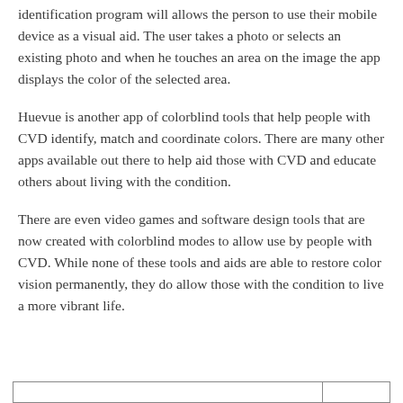identification program will allows the person to use their mobile device as a visual aid. The user takes a photo or selects an existing photo and when he touches an area on the image the app displays the color of the selected area.
Huevue is another app of colorblind tools that help people with CVD identify, match and coordinate colors. There are many other apps available out there to help aid those with CVD and educate others about living with the condition.
There are even video games and software design tools that are now created with colorblind modes to allow use by people with CVD. While none of these tools and aids are able to restore color vision permanently, they do allow those with the condition to live a more vibrant life.